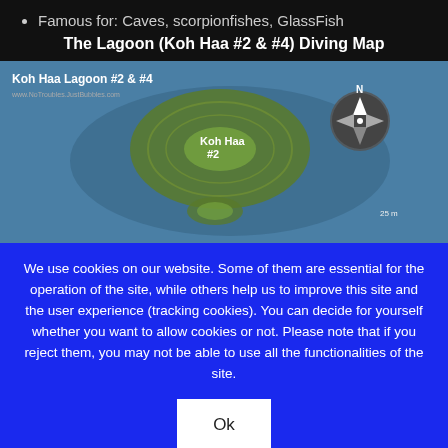Famous for: Caves, scorpionfishes, GlassFish
The Lagoon (Koh Haa #2 & #4) Diving Map
[Figure (map): Diving map of Koh Haa Lagoon #2 & #4 showing island contours, depth zones, and a compass rose with north indicator.]
We use cookies on our website. Some of them are essential for the operation of the site, while others help us to improve this site and the user experience (tracking cookies). You can decide for yourself whether you want to allow cookies or not. Please note that if you reject them, you may not be able to use all the functionalities of the site.
Ok
More information